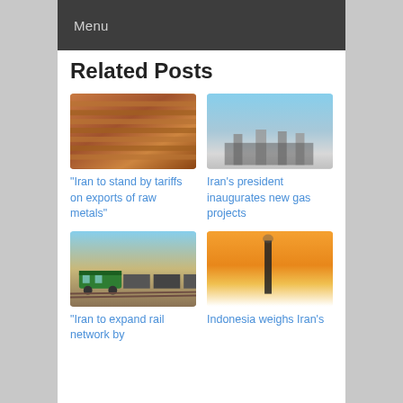Menu
Related Posts
[Figure (photo): Stacked copper metal sheets/plates in a warehouse]
“Iran to stand by tariffs on exports of raw metals”
[Figure (photo): Industrial gas facility with towers near water in snowy conditions]
Iran’s president inaugurates new gas projects
[Figure (photo): Green train locomotive on a railway track through desert landscape]
“Iran to expand rail network by
[Figure (photo): Industrial smokestack silhouetted against an orange sunset sky]
Indonesia weighs Iran’s